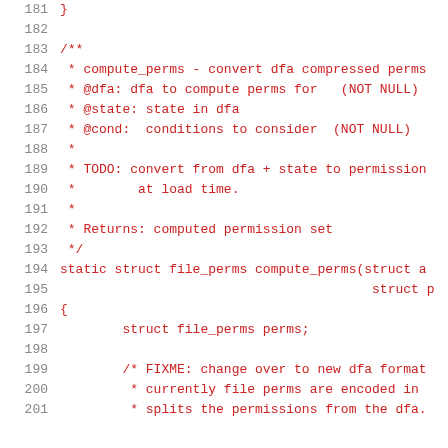Source code listing lines 181-201 showing a C function comment block and start of compute_perms function definition
181   }
182
183   /**
184    * compute_perms - convert dfa compressed perms
185    * @dfa: dfa to compute perms for   (NOT NULL)
186    * @state: state in dfa
187    * @cond:  conditions to consider  (NOT NULL)
188    *
189    * TODO: convert from dfa + state to permission
190    *        at load time.
191    *
192    * Returns: computed permission set
193    */
194   static struct file_perms compute_perms(struct a
195                                            struct p
196   {
197           struct file_perms perms;
198
199           /* FIXME: change over to new dfa format
200            * currently file perms are encoded in
201            * splits the permissions from the dfa.